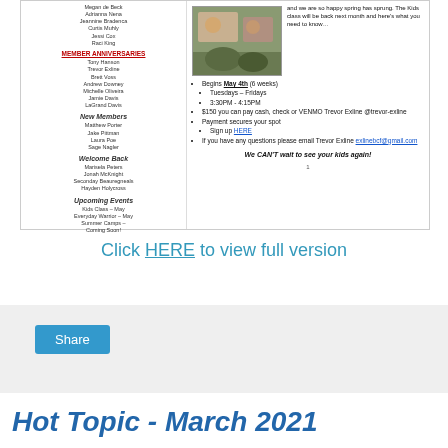[Figure (screenshot): Newsletter snippet showing left column with member names and right column with Kids Class info including bullet points and photo]
Click HERE to view full version
[Figure (other): Share button box with light gray background]
Hot Topic - March 2021